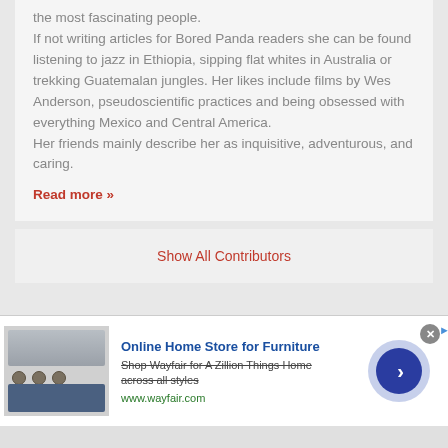the most fascinating people. If not writing articles for Bored Panda readers she can be found listening to jazz in Ethiopia, sipping flat whites in Australia or trekking Guatemalan jungles. Her likes include films by Wes Anderson, pseudoscientific practices and being obsessed with everything Mexico and Central America. Her friends mainly describe her as inquisitive, adventurous, and caring.
Read more »
Show All Contributors
[Figure (infographic): Advertisement banner for Wayfair Online Home Store for Furniture with appliance image, title, description, URL, and navigation button]
Online Home Store for Furniture
Shop Wayfair for A Zillion Things Home across all styles
www.wayfair.com